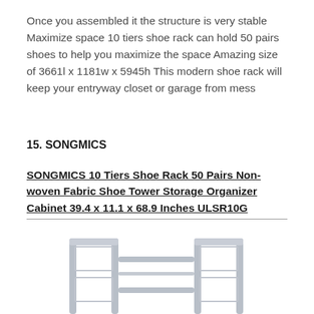Once you assembled it the structure is very stable Maximize space 10 tiers shoe rack can hold 50 pairs shoes to help you maximize the space Amazing size of 3661l x 1181w x 5945h This modern shoe rack will keep your entryway closet or garage from mess
15. SONGMICS
SONGMICS 10 Tiers Shoe Rack 50 Pairs Non-woven Fabric Shoe Tower Storage Organizer Cabinet 39.4 x 11.1 x 68.9 Inches ULSR10G
[Figure (photo): Bottom portion of a metal shoe rack frame with two rectangular columns connected by horizontal bars, appearing to be a wire/steel construction shoe rack]